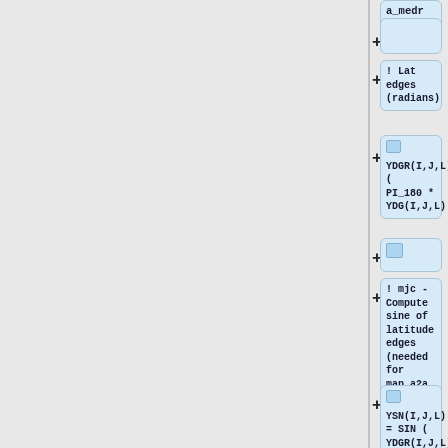[Figure (flowchart): Vertical flowchart showing code blocks/nodes connected by plus signs. Nodes contain Fortran-style code comments and assignments: a_medr clipped text at top, blank node, '! Lat edges (radians)', 'YDGR(I,J,L) = (PI_180 * YDG(I,J,L))', blank node with small blue square, '! mjc - Compute sine of latitude edges (needed for map_a2a regrid', 'YSN(I,J,L) = SIN (YDGR(I,J,L))', and partial node at bottom. A vertical divider separates the left gray area from the right flowchart column.]